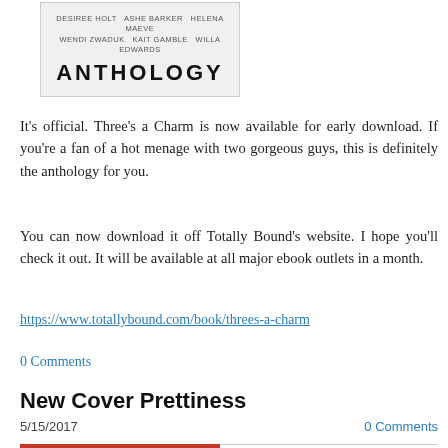[Figure (illustration): Book cover image with author names including DESIREE HOLT, ASHE BARKER, HELENA MAEVE, WENDI ZWADUK, KAIT GAMBLE, WILLA EDWARDS and title ANTHOLOGY in bold large letters, on a light gray background with a border.]
It's official. Three's a Charm is now available for early download. If you're a fan of a hot menage with two gorgeous guys, this is definitely the anthology for you.
You can now download it off Totally Bound's website. I hope you'll check it out. It will be available at all major ebook outlets in a month.
https://www.totallybound.com/book/threes-a-charm
0 Comments
New Cover Prettiness
5/15/2017
0 Comments
[Figure (illustration): Partial book cover image with red background showing 'Siren Publishing' and 'Menage Amour' in decorative script text.]